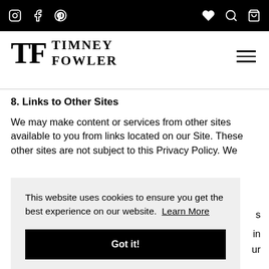Timney Fowler website header with social icons (Instagram, Facebook, Pinterest) and navigation icons (heart, search, basket)
[Figure (logo): Timney Fowler logo with TF monogram and brand name]
8. Links to Other Sites
We may make content or services from other sites available to you from links located on our Site. These other sites are not subject to this Privacy Policy. We
This website uses cookies to ensure you get the best experience on our website. Learn More
Got it!
Sites or Applications, that information can be read.